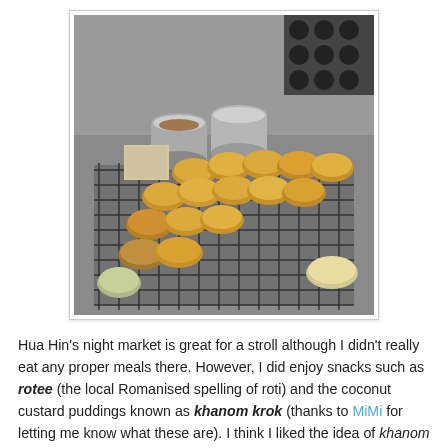[Figure (photo): Overhead view of khanom krok (Thai coconut custard puddings) arranged on a wire cooling rack. Several golden-brown round puddings are visible along with two small metal cups/bowls in the background. A round waffle/egg iron is visible in the upper right corner. The setting appears to be a street food stall.]
Hua Hin's night market is great for a stroll although I didn't really eat any proper meals there. However, I did enjoy snacks such as rotee (the local Romanised spelling of roti) and the coconut custard puddings known as khanom krok (thanks to MiMi for letting me know what these are). I think I liked the idea of khanom krok, with its crispy outer and wobbly centre, more than the execution, as the ones I tried